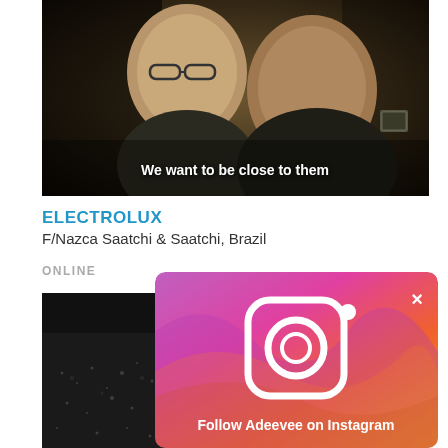[Figure (photo): Two men in dark uniforms/jackets with text overlay 'We want to be close to them']
ELECTROLUX
F/Nazca Saatchi & Saatchi, Brazil
ONLINE
[Figure (photo): Dark abstract/crowd photo partially visible at bottom left]
[Figure (screenshot): Instagram follow popup overlay with gradient purple-pink-orange background, Instagram logo icon, close X button, and text 'Follow Adeevee on Instagram']